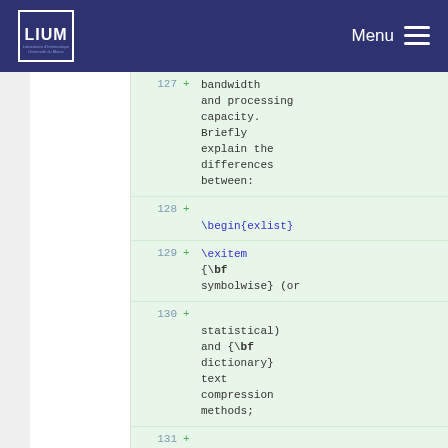LIUM  Menu
127 +     bandwidth and processing capacity. Briefly explain the differences between:
128 +
128 +  \begin{exlist}
129 +         \exitem {\bf symbolwise} (or
130 +  statistical) and {\bf dictionary} text compression methods;
131 +